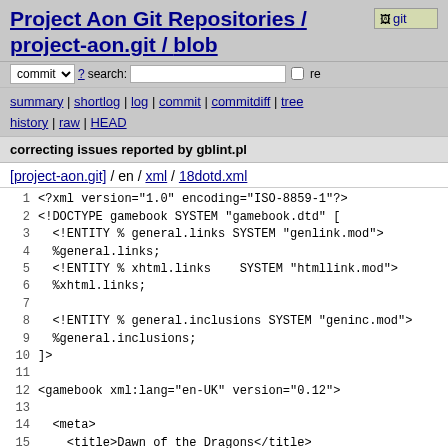Project Aon Git Repositories / project-aon.git / blob
commit ? search: re
summary | shortlog | log | commit | commitdiff | tree history | raw | HEAD
correcting issues reported by gblint.pl
[project-aon.git] / en / xml / 18dotd.xml
1 <?xml version="1.0" encoding="ISO-8859-1"?>
2 <!DOCTYPE gamebook SYSTEM "gamebook.dtd" [
3   <!ENTITY % general.links SYSTEM "genlink.mod">
4   %general.links;
5   <!ENTITY % xhtml.links    SYSTEM "htmllink.mod">
6   %xhtml.links;
7
8   <!ENTITY % general.inclusions SYSTEM "geninc.mod">
9   %general.inclusions;
10 ]>
11
12 <gamebook xml:lang="en-UK" version="0.12">
13
14   <meta>
15     <title>Dawn of the Dragons</title>
16     <creator class="author" sort-name="Dever, Joe">Joe De
17     <creator class="illustrator" sort-name="Williams, Bri
18     <creator class="short">Joe Dever and Brian Williams</ 
19     <creator class="medium">